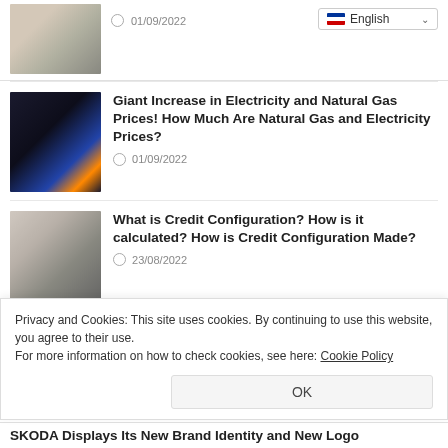[Figure (photo): Small thumbnail image of shopping cart with boxes, top article]
01/09/2022
[Figure (screenshot): English language selector dropdown]
[Figure (photo): Thumbnail showing light bulb and gas flame representing electricity and natural gas]
Giant Increase in Electricity and Natural Gas Prices! How Much Are Natural Gas and Electricity Prices?
01/09/2022
[Figure (photo): Thumbnail showing hand using a calculator]
What is Credit Configuration? How is it calculated? How is Credit Configuration Made?
23/08/2022
Privacy and Cookies: This site uses cookies. By continuing to use this website, you agree to their use.
For more information on how to check cookies, see here: Cookie Policy
OK
SKODA Displays Its New Brand Identity and New Logo